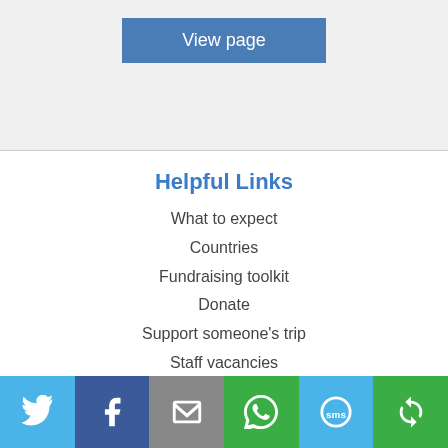[Figure (screenshot): View page button on light grey background]
Helpful Links
What to expect
Countries
Fundraising toolkit
Donate
Support someone's trip
Staff vacancies
Resources
[Figure (infographic): Social sharing bar with Twitter, Facebook, Email, WhatsApp, SMS, and share icons]